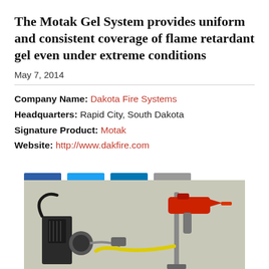The Motak Gel System provides uniform and consistent coverage of flame retardant gel even under extreme conditions
May 7, 2014
[Figure (other): Social media share buttons: Facebook, Twitter, LinkedIn, Email]
Company Name: Dakota Fire Systems
Headquarters: Rapid City, South Dakota
Signature Product: Motak
Website: http://www.dakfire.com
[Figure (photo): Photo of the Motak Gel System equipment including a pump/motor unit and spray gun nozzle mounted on stands against a gray background]